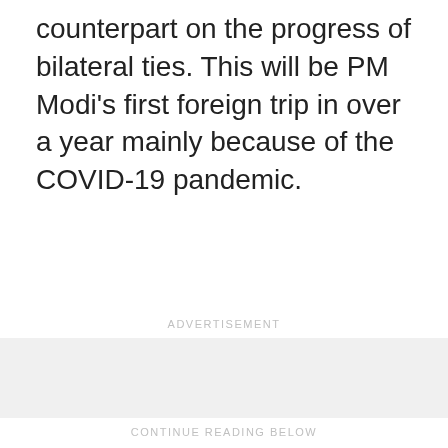counterpart on the progress of bilateral ties. This will be PM Modi's first foreign trip in over a year mainly because of the COVID-19 pandemic.
ADVERTISEMENT
[Figure (other): Advertisement placeholder box with light gray background]
CONTINUE READING BELOW